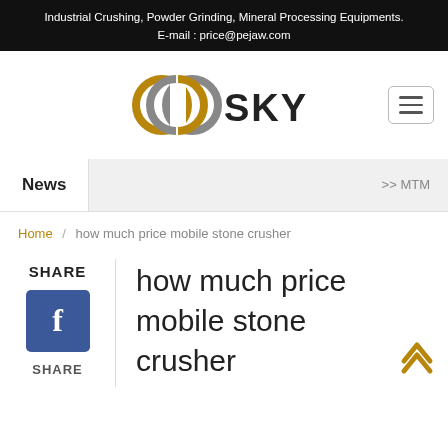Industrial Crushing, Powder Grinding, Mineral Processing Equipments.
E-mail : price@pejaw.com
[Figure (logo): GG Sky logo with interlocked ring symbol in gold and gray, company name SKY in dark letters]
News >> MTM
Home / how much price mobile stone crusher
SHARE
[Figure (infographic): Facebook share button - blue square with white letter f]
SHARE
how much price mobile stone crusher